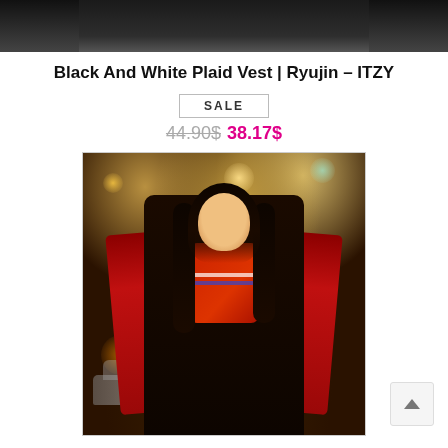[Figure (photo): Top cropped photo of a person wearing dark clothing, upper body partially visible]
Black And White Plaid Vest | Ryujin – ITZY
SALE
44.90$ 38.17$
[Figure (photo): Young woman with long dark hair smiling, wearing a black vest over a red jacket with a striped scarf, standing on a city street at night with blurred car headlights and streetlights in the background]